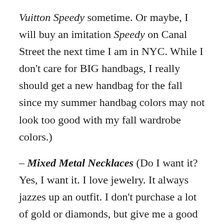Vuitton Speedy sometime. Or maybe, I will buy an imitation Speedy on Canal Street the next time I am in NYC. While I don't care for BIG handbags, I really should get a new handbag for the fall since my summer handbag colors may not look too good with my fall wardrobe colors.)
– Mixed Metal Necklaces (Do I want it? Yes, I want it. I love jewelry. It always jazzes up an outfit. I don't purchase a lot of gold or diamonds, but give me a good piece of costume jewelry or handcrafted jewelry and I get sooooooo excited. Will check these out at Saks if I ever go shopping there, which is not often.)